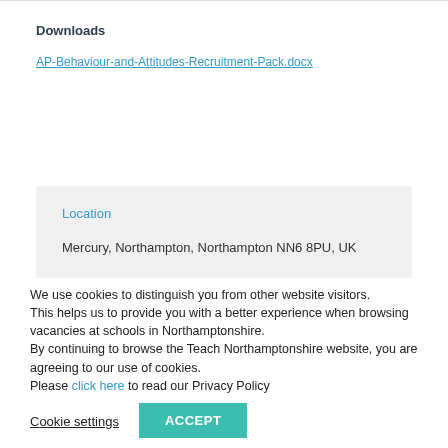Downloads
AP-Behaviour-and-Attitudes-Recruitment-Pack.docx
Location
Mercury, Northampton, Northampton NN6 8PU, UK
We use cookies to distinguish you from other website visitors.
This helps us to provide you with a better experience when browsing vacancies at schools in Northamptonshire.
By continuing to browse the Teach Northamptonshire website, you are agreeing to our use of cookies.
Please click here to read our Privacy Policy
Cookie settings
ACCEPT